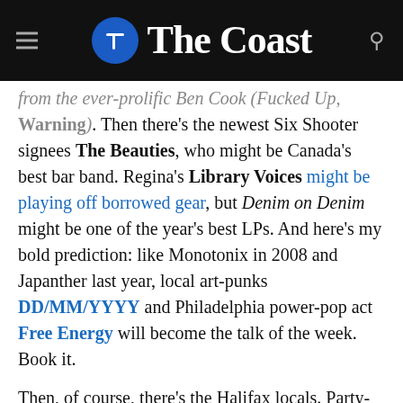The Coast
from the ever-prolific Ben Cook (Fucked Up, No Warning). Then there's the newest Six Shooter signees The Beauties, who might be Canada's best bar band. Regina's Library Voices might be playing off borrowed gear, but Denim on Denim might be one of the year's best LPs. And here's my bold prediction: like Monotonix in 2008 and Japanther last year, local art-punks DD/MM/YYYY and Philadelphia power-pop act Free Energy will become the talk of the week. Book it.
Then, of course, there's the Halifax locals. Party-dude Rich Aucoin, folk charmers Ghost Bees, banjo whiz Old Man Luedecke and The